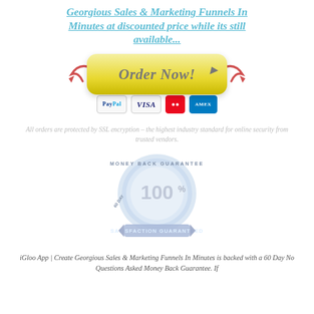Georgious Sales & Marketing Funnels In Minutes at discounted price while its still available...
[Figure (illustration): Yellow 'Order Now!' button with red curved arrows on each side pointing inward, and a mouse cursor icon at bottom right. Below the button are payment icons: PayPal, VISA, MasterCard, American Express.]
All orders are protected by SSL encryption – the highest industry standard for online security from trusted vendors.
[Figure (illustration): 60 Day Money Back Guarantee seal badge showing '100%' in large text, with 'SATISFACTION GUARANTEED' on a blue ribbon banner below, and 'MONEY BACK GUARANTEE' text around the circle.]
iGloo App | Create Georgious Sales & Marketing Funnels In Minutes is backed with a 60 Day No Questions Asked Money Back Guarantee. If